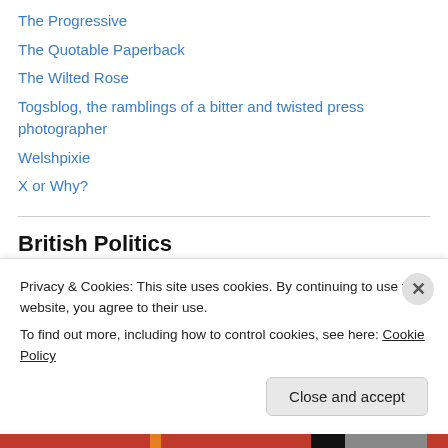The Progressive
The Quotable Paperback
The Wilted Rose
Togsblog, the ramblings of a bitter and twisted press photographer
Welshpixie
X or Why?
British Politics
British National Party
Next Left
Parliament
Socialist Unity
Privacy & Cookies: This site uses cookies. By continuing to use this website, you agree to their use.
To find out more, including how to control cookies, see here: Cookie Policy
Close and accept